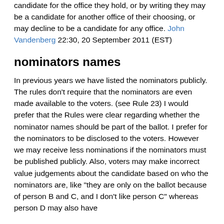candidate for the office they hold, or by writing they may be a candidate for another office of their choosing, or may decline to be a candidate for any office. John Vandenberg 22:30, 20 September 2011 (EST)
nominators names
In previous years we have listed the nominators publicly. The rules don't require that the nominators are even made available to the voters. (see Rule 23) I would prefer that the Rules were clear regarding whether the nominator names should be part of the ballot. I prefer for the nominators to be disclosed to the voters. However we may receive less nominations if the nominators must be published publicly. Also, voters may make incorrect value judgements about the candidate based on who the nominators are, like "they are only on the ballot because of person B and C, and I don't like person C" whereas person D may also have